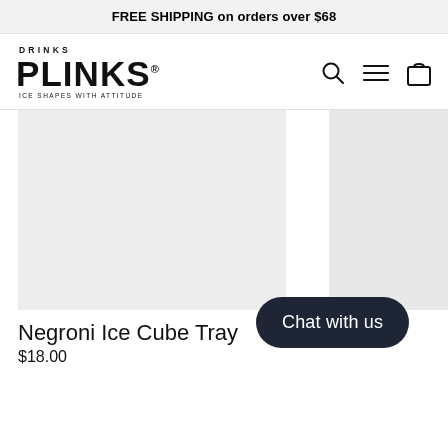FREE SHIPPING on orders over $68
[Figure (logo): Drinks Plinks logo with tagline 'ICE SHAPES WITH ATTITUDE' and navigation icons (search, menu, cart)]
[Figure (photo): Product image placeholder for Negroni Ice Cube Tray (light grey rectangle)]
Negroni Ice Cube Tray
$18.00
[Figure (photo): Partial product image placeholder for second product (light grey rectangle, cropped)]
Cube
Chat with us